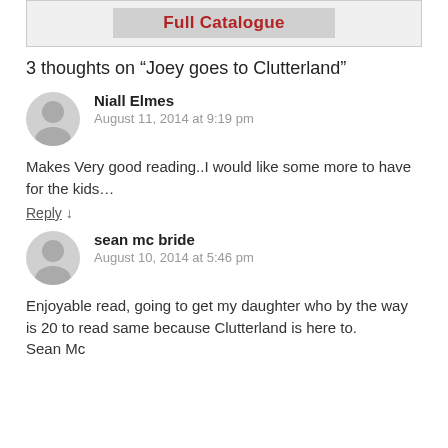[Figure (other): Full Catalogue button in a grey box]
3 thoughts on “Joey goes to Clutterland”
Niall Elmes
August 11, 2014 at 9:19 pm
Makes Very good reading..I would like some more to have for the kids…
Reply ↓
sean mc bride
August 10, 2014 at 5:46 pm
Enjoyable read, going to get my daughter who by the way is 20 to read same because Clutterland is here to.
Sean Mc